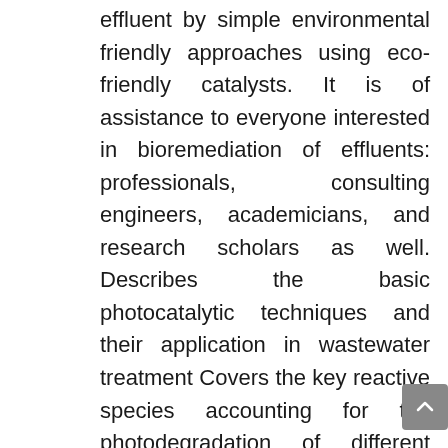effluent by simple environmental friendly approaches using eco-friendly catalysts. It is of assistance to everyone interested in bioremediation of effluents: professionals, consulting engineers, academicians, and research scholars as well. Describes the basic photocatalytic techniques and their application in wastewater treatment Covers the key reactive species accounting for the photodegradation of different dyes, providing helpful guidelines that could be applied to foster the development of efficient photodegradation systems Includes Description of a wide variety of catalysts and their application in degradation of dyes in the effluent of variable matrices (such as textile effluent, pharmaceutical industry effluent, food industry effluent) Presents the application of doped semiconductors in the degradation of dyes, hybrid systems and their importance in the dye degradation Describes the biological synthesis of metallic nanostructures and their use in dye degradation using visible range of light